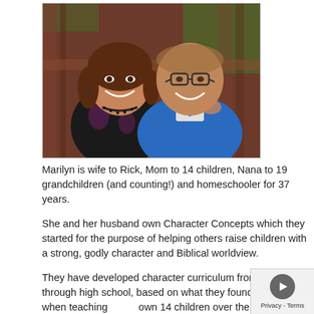[Figure (photo): A smiling couple outdoors near a wooden structure. The woman on the left has long brown hair and wears a dark floral top with a black necklace. The man on the right wears glasses and a blue button-up shirt.]
Marilyn is wife to Rick, Mom to 14 children, Nana to 19 grandchildren (and counting!) and homeschooler for 37 years.
She and her husband own Character Concepts which they started for the purpose of helping others raise children with a strong, godly character and Biblical worldview.
They have developed character curriculum from preschool through high school, based on what they found worked when teaching their own 14 children over the years.